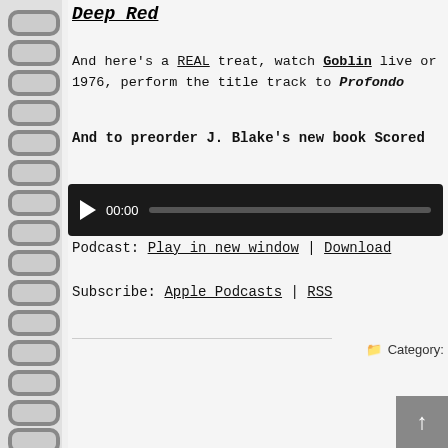Deep Red
And here's a REAL treat, watch Goblin live or 1976, perform the title track to Profondo
And to preorder J. Blake's new book Scored
[Figure (other): Audio player with play button, time display 00:00, and progress bar on dark background]
Podcast: Play in new window | Download
Subscribe: Apple Podcasts | RSS
Category: